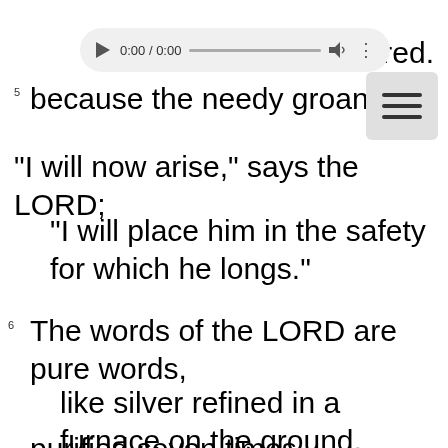[Figure (screenshot): Audio player UI element showing 0:00 / 0:00 with play button, progress bar, volume icon, and menu dots]
red.
[Figure (screenshot): Hamburger menu icon (three horizontal lines) in a grey rounded square]
because the needy groan,
"I will now arise," says the LORD;
"I will place him in the safety for which he longs."
The words of the LORD are pure words,
like silver refined in a furnace on the ground,
purified seven times